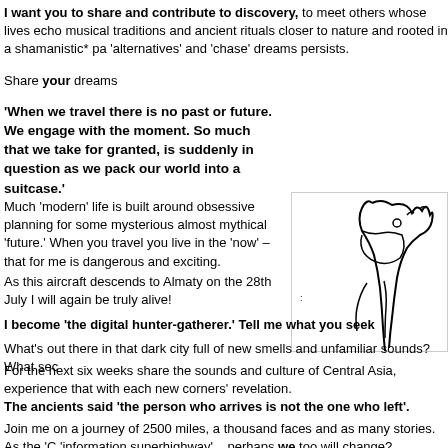I want you to share and contribute to discovery, to meet others whose lives echo musical traditions and ancient rituals closer to nature and rooted in a shamanistic* pa 'alternatives' and 'chase' dreams persists.
Share your dreams
'When we travel there is no past or future. We engage with the moment. So much that we take for granted, is suddenly in question as we pack our world into a suitcase.'
[Figure (illustration): Partial illustration of a giraffe or similar animal figure, black line drawing on white background]
Much 'modern' life is built around obsessive planning for some mysterious almost mythical 'future.' When you travel you live in the 'now' – that for me is dangerous and exciting.
As this aircraft descends to Almaty on the 28th July I will again be truly alive!
I become 'the digital hunter-gatherer.' Tell me what you seek
What's out there in that dark city full of new smells and unfamiliar sounds? What sec
For the next six weeks share the sounds and culture of Central Asia, experience that with each new corners' revelation.
The ancients said 'the person who arrives is not the one who left'.
Join me on a journey of 2500 miles, a thousand faces and as many stories. As the 'C 'information superhighway'... perhaps we too will change?